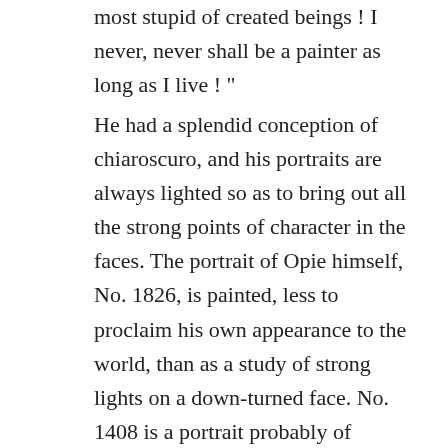most stupid of created beings ! I never, never shall be a painter as long as I live ! "
He had a splendid conception of chiaroscuro, and his portraits are always lighted so as to bring out all the strong points of character in the faces. The portrait of Opie himself, No. 1826, is painted, less to proclaim his own appearance to the world, than as a study of strong lights on a down-turned face. No. 1408 is a portrait probably of William Opie, the younger brother of the artist. It would be difficult to compose a more ideal and beautiful picture of a youth. The broad touch of the artist is seen at its best in this striking work. Equally fine as a study of light and shade and as a rendering of texture, is the likeness of Mary Wollstonecraft Godwin, No. 1167. William Godwin, the clever author of “ Caleb Williams,” and